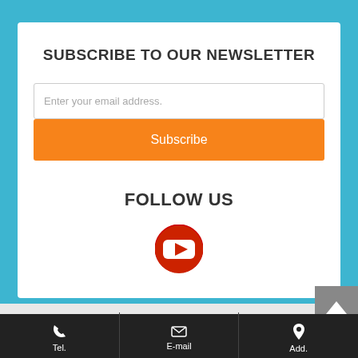SUBSCRIBE TO OUR NEWSLETTER
Enter your email address.
Subscribe
FOLLOW US
[Figure (logo): YouTube icon - red circle with white play button triangle]
[Figure (other): Back to top arrow button (caret up) on gray/dark background]
Tel.  E-mail  Add.